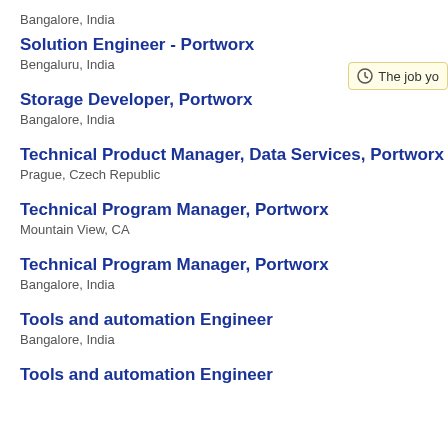Bangalore, India
Solution Engineer - Portworx
Bengaluru, India
Storage Developer, Portworx
Bangalore, India
Technical Product Manager, Data Services, Portworx
Prague, Czech Republic
Technical Program Manager, Portworx
Mountain View, CA
Technical Program Manager, Portworx
Bangalore, India
Tools and automation Engineer
Bangalore, India
Tools and automation Engineer